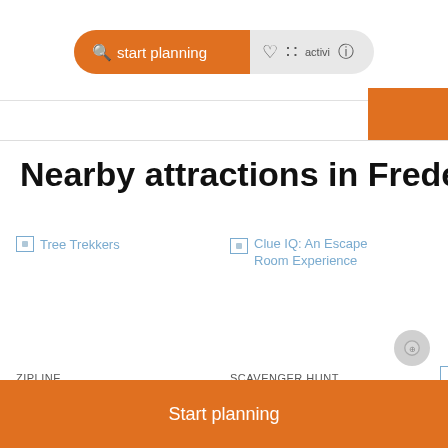Start planning  activities
Nearby attractions in Frederick
[Figure (screenshot): Broken image placeholder for Tree Trekkers attraction]
ZIPLINE
Tree Trekkers
★★★★★ 5.0
[Figure (screenshot): Broken image placeholder for Clue IQ: An Escape Room Experience attraction]
SCAVENGER HUNT
Clue IQ: An Escape Room Experience
Start planning